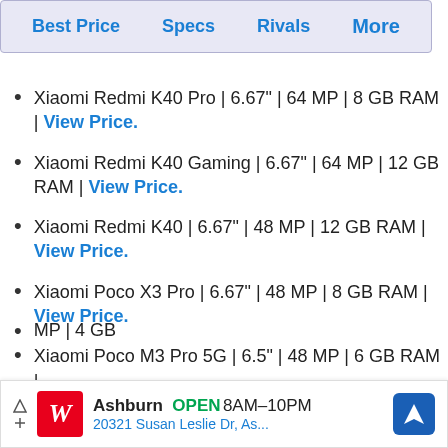Best Price | Specs | Rivals | More
Xiaomi Redmi K40 Pro | 6.67" | 64 MP | 8 GB RAM | View Price.
Xiaomi Redmi K40 Gaming | 6.67" | 64 MP | 12 GB RAM | View Price.
Xiaomi Redmi K40 | 6.67" | 48 MP | 12 GB RAM | View Price.
Xiaomi Poco X3 Pro | 6.67" | 48 MP | 8 GB RAM | View Price.
Xiaomi Poco M3 Pro 5G | 6.5" | 48 MP | 6 GB RAM |
[Figure (screenshot): Advertisement overlay: Walgreens Ashburn OPEN 8AM-10PM, 20321 Susan Leslie Dr, As..., with navigation arrow icon]